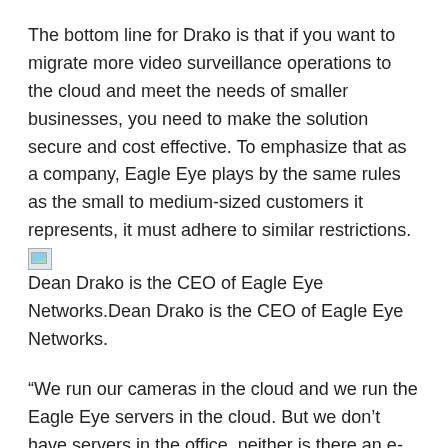The bottom line for Drako is that if you want to migrate more video surveillance operations to the cloud and meet the needs of smaller businesses, you need to make the solution secure and cost effective. To emphasize that as a company, Eagle Eye plays by the same rules as the small to medium-sized customers it represents, it must adhere to similar restrictions.
[Figure (photo): Broken image placeholder for Dean Drako, CEO of Eagle Eye Networks]
Dean Drako is the CEO of Eagle Eye Networks.
“We run our cameras in the cloud and we run the Eagle Eye servers in the cloud. But we don’t have servers in the office, neither is there an e-mail server in the office, there is no floppy disk drive, no file server in the office, there is no CRM system in the office, there is no marketing automation, there is no website Servers in the office, â€ adds Drako, emphasizing that there is no equipment shelf in his company office and this is the latest trend in business operations and it will continue to do so for the next decade.